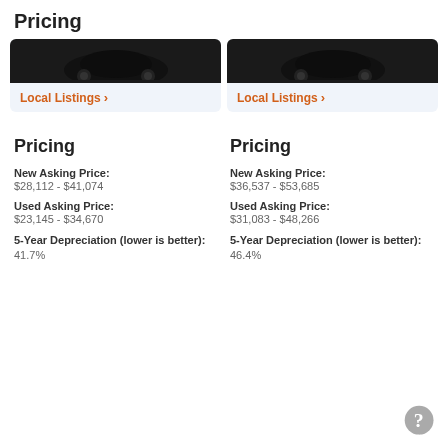Pricing
[Figure (photo): Two car images side by side shown partially, both dark colored vehicles]
Local Listings >
Local Listings >
Pricing
Pricing
New Asking Price:
$28,112 - $41,074
New Asking Price:
$36,537 - $53,685
Used Asking Price:
$23,145 - $34,670
Used Asking Price:
$31,083 - $48,266
5-Year Depreciation (lower is better):
41.7%
5-Year Depreciation (lower is better):
46.4%